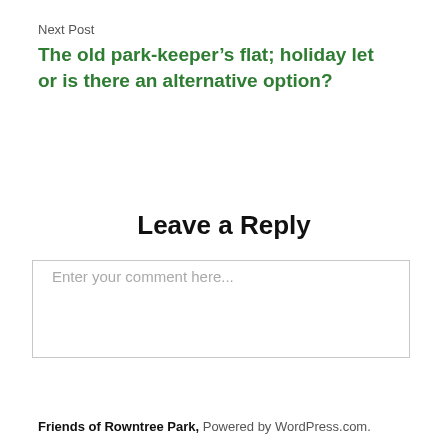Next Post
The old park-keeper’s flat; holiday let or is there an alternative option?
Leave a Reply
Enter your comment here...
Friends of Rowntree Park, Powered by WordPress.com.